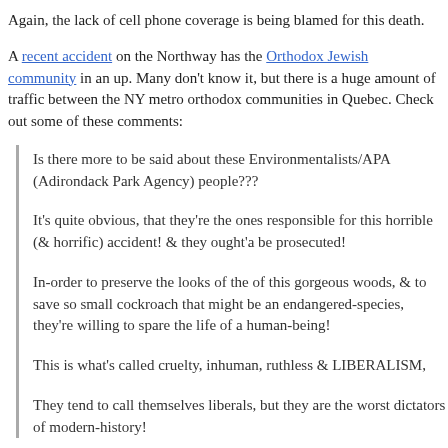Again, the lack of cell phone coverage is being blamed for this death.
A recent accident on the Northway has the Orthodox Jewish community in an up. Many don't know it, but there is a huge amount of traffic between the NY metro orthodox communities in Quebec. Check out some of these comments:
Is there more to be said about these Environmentalists/APA (Adirondack Park Agency) people???
It's quite obvious, that they're the ones responsible for this horrible (& horrific) accident! & they ought'a be prosecuted!
In-order to preserve the looks of the of this gorgeous woods, & to save so small cockroach that might be an endangered-species, they're willing to spare the life of a human-being!
This is what's called cruelty, inhuman, ruthless & LIBERALISM,
They tend to call themselves liberals, but they are the worst dictators of modern-history!